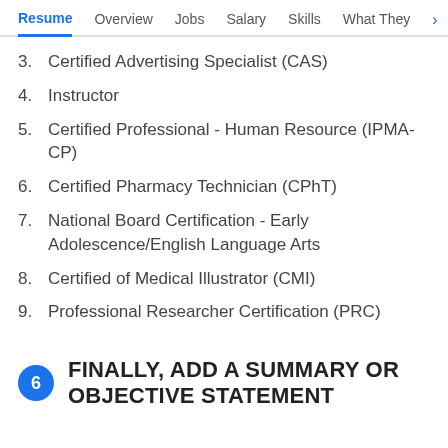Resume | Overview | Jobs | Salary | Skills | What They >
3. Certified Advertising Specialist (CAS)
4. Instructor
5. Certified Professional - Human Resource (IPMA-CP)
6. Certified Pharmacy Technician (CPhT)
7. National Board Certification - Early Adolescence/English Language Arts
8. Certified of Medical Illustrator (CMI)
9. Professional Researcher Certification (PRC)
6 FINALLY, ADD A SUMMARY OR OBJECTIVE STATEMENT